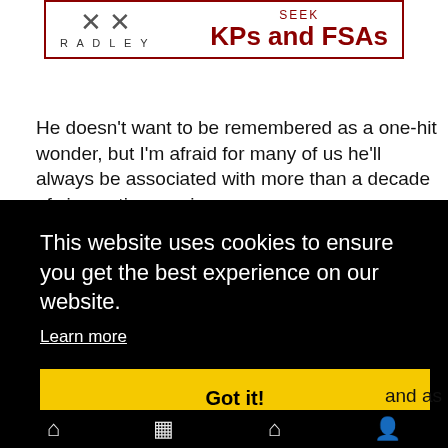[Figure (logo): Radley college logo with crossed keys and text 'SEEK KPs AND FSAs' in dark red, inside a red border rectangle]
He doesn't want to be remembered as a one-hit wonder, but I'm afraid for many of us he'll always be associated with more than a decade of cinematic experiences.
Jane and Philippa
2009 - 2011
[Figure (photo): Partial photo showing warm orange/red toned image, appears to be a room with string lights]
This website uses cookies to ensure you get the best experience on our website.
Learn more
Got it!
and as please ng the